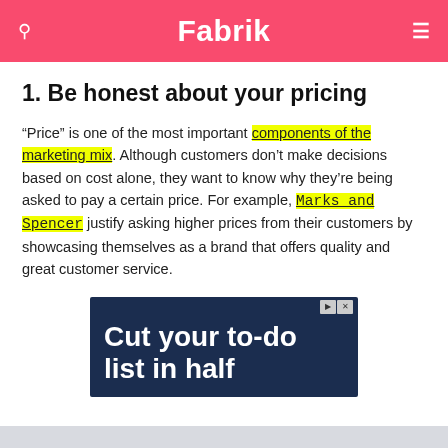Fabrik
1. Be honest about your pricing
“Price” is one of the most important components of the marketing mix. Although customers don’t make decisions based on cost alone, they want to know why they’re being asked to pay a certain price. For example, Marks and Spencer justify asking higher prices from their customers by showcasing themselves as a brand that offers quality and great customer service.
[Figure (other): Advertisement banner with dark navy background showing text 'Cut your to-do list in half']